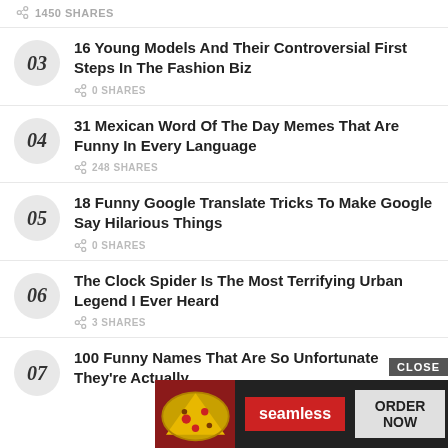1450 SHARES
03 — 16 Young Models And Their Controversial First Steps In The Fashion Biz — 0 SHARES
04 — 31 Mexican Word Of The Day Memes That Are Funny In Every Language — 248 SHARES
05 — 18 Funny Google Translate Tricks To Make Google Say Hilarious Things — 0 SHARES
06 — The Clock Spider Is The Most Terrifying Urban Legend I Ever Heard — 3 SHARES
07 — 100 Funny Names That Are So Unfortunate They're Actually...
[Figure (screenshot): Seamless food delivery advertisement with pizza image, red Seamless logo button, and ORDER NOW button, with CLOSE button overlay]